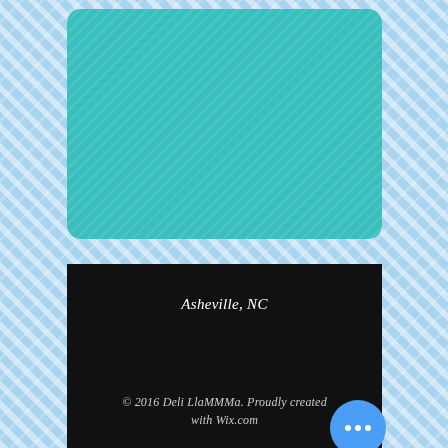[Figure (illustration): Teal rounded rectangle card over a light blue plaid/tartan diagonal stripe background]
Asheville, NC
© 2016 Deli LlaMMMa. Proudly created with Wix.com